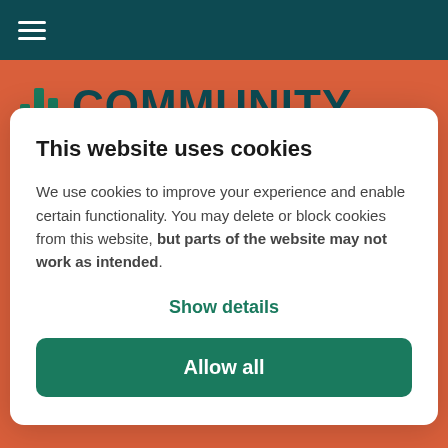[Figure (screenshot): Top navigation bar with dark teal background and hamburger menu icon (three horizontal white lines)]
[Figure (logo): Bar chart icon with three green bars and the text COMMUNITY in large dark teal bold letters on an orange/red background]
This website uses cookies
We use cookies to improve your experience and enable certain functionality. You may delete or block cookies from this website, but parts of the website may not work as intended.
Show details
Allow all